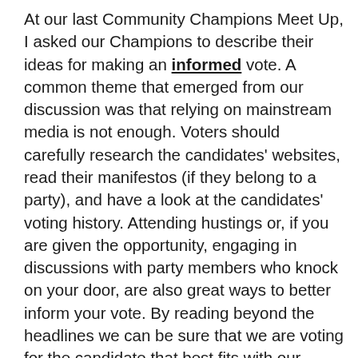At our last Community Champions Meet Up, I asked our Champions to describe their ideas for making an informed vote. A common theme that emerged from our discussion was that relying on mainstream media is not enough. Voters should carefully research the candidates' websites, read their manifestos (if they belong to a party), and have a look at the candidates' voting history. Attending hustings or, if you are given the opportunity, engaging in discussions with party members who knock on your door, are also great ways to better inform your vote. By reading beyond the headlines we can be sure that we are voting for the candidate that best fits with our beliefs and values.